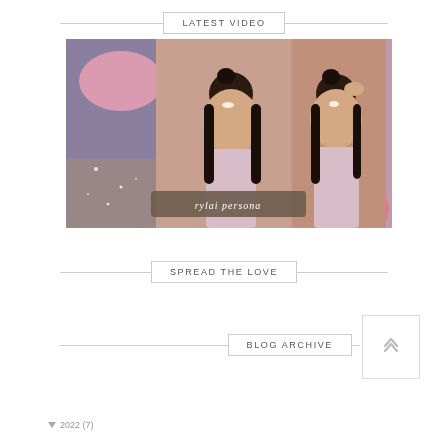LATEST VIDEO
[Figure (photo): YouTube thumbnail showing a woman with half-bun hairstyle and fantasy makeup posing twice side-by-side, with text 'rylai persona' on a dark brushstroke, surrounded by pink and purple illustrated game art elements.]
SPREAD THE LOVE
BLOG ARCHIVE
2022 (7)